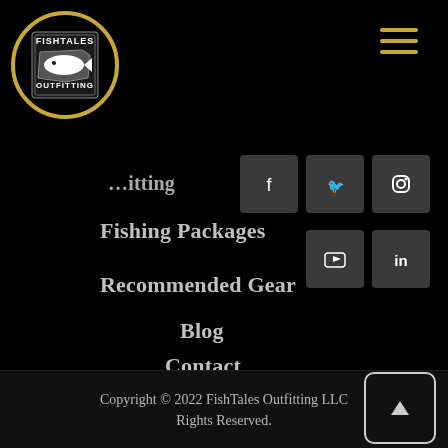[Figure (logo): FishTales Outfitting logo: a fish silhouette on a state outline, surrounded by a gold circle, text FISHTALES OUTFITTING]
[Figure (other): Hamburger menu icon (three horizontal gold lines)]
Fishtales Outfitting (partial, navigation link)
[Figure (other): Social media icons: Facebook, Twitter, Instagram (top row), YouTube, LinkedIn (bottom row) — dark grey square buttons]
Fishing Packages
Recommended Gear
Blog
Contact
Copyright © 2022 FishTales Outfitting LLC Rights Reserved.